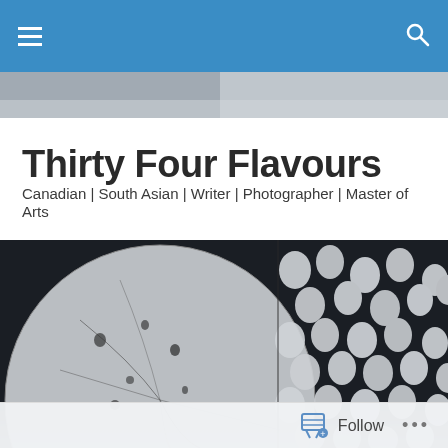Navigation bar with hamburger menu and search icon
[Figure (photo): Partial black and white photo strip at top of page below nav bar]
Thirty Four Flavours
Canadian | South Asian | Writer | Photographer | Master of Arts
[Figure (photo): Black and white photograph showing large spherical globe and many small round objects on dark background]
TAGGED WITH RIOT FEST TICKET GIVEAWAY
Riot Fest & Expo Toronto 2015: Ticket Giveaway!
Follow